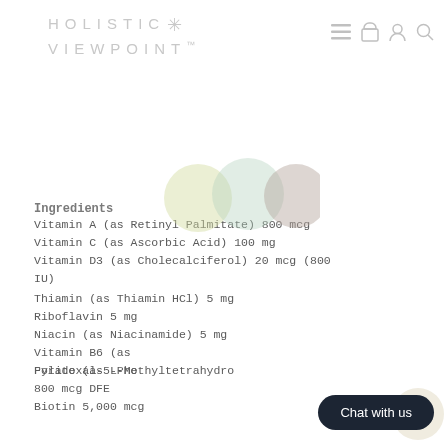HOLISTIC VIEWPOINT™
Ingredients
Vitamin A (as Retinyl Palmitate) 800 mcg
Vitamin C (as Ascorbic Acid) 100 mg
Vitamin D3 (as Cholecalciferol) 20 mcg (800 IU)
Thiamin (as Thiamin HCl) 5 mg
Riboflavin 5 mg
Niacin (as Niacinamide) 5 mg
Vitamin B6 (as Pyridoxal-5-Pho...
Folate (as L-Methyltetrahydro... 800 mcg DFE
Biotin 5,000 mcg